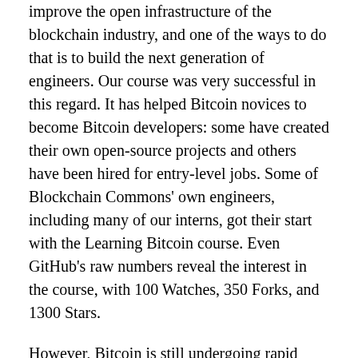improve the open infrastructure of the blockchain industry, and one of the ways to do that is to build the next generation of engineers. Our course was very successful in this regard. It has helped Bitcoin novices to become Bitcoin developers: some have created their own open-source projects and others have been hired for entry-level jobs. Some of Blockchain Commons' own engineers, including many of our interns, got their start with the Learning Bitcoin course. Even GitHub's raw numbers reveal the interest in the course, with 100 Watches, 350 Forks, and 1300 Stars.
However, Bitcoin is still undergoing rapid development, which led to the need for v2.0 of the course, to update it for the most recent releases Bitcoin 0.20.0 & 0.20.1: every example in the course has been updated and revised accordingly. The updated course has also has been expanded to include a number of new topics. New sections discuss wallet descriptors, SegWit, and how SegWit's new